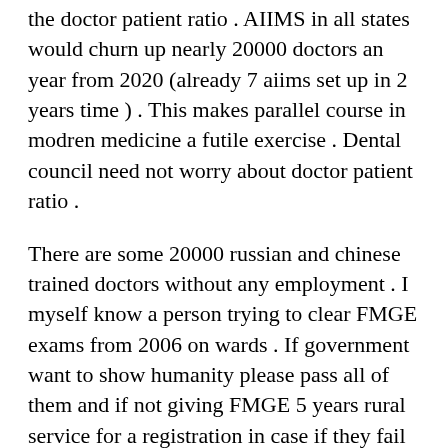the doctor patient ratio . AIIMS in all states would churn up nearly 20000 doctors an year from 2020 (already 7 aiims set up in 2 years time ) . This makes parallel course in modren medicine a futile exercise . Dental council need not worry about doctor patient ratio .
There are some 20000 russian and chinese trained doctors without any employment . I myself know a person trying to clear FMGE exams from 2006 on wards . If government want to show humanity please pass all of them and if not giving FMGE 5 years rural service for a registration in case if they fail rather than making BDS students becoming MBBS .
Dentists too have passion for their profession just as we guys do for medicine . Dci moves are very unfortunate by bringing BDS course in a very very poor light as being an inferior course to MBBS . DCI is in addition that t that t that their i th